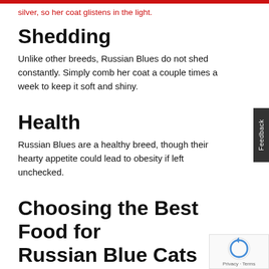silver, so her coat glistens in the light.
Shedding
Unlike other breeds, Russian Blues do not shed constantly. Simply comb her coat a couple times a week to keep it soft and shiny.
Health
Russian Blues are a healthy breed, though their hearty appetite could lead to obesity if left unchecked.
Choosing the Best Food for Russian Blue Cats
Although they’re a relatively healthy breed, Russian Blue Cats are at risk of obesity due to their love of food. In addition to providing them with plenty of exercise through play time, consider selecting a weight-management formula for your kitty’s food. A cat f… like Purina ONE Healthy Metabolism or Pro Plan W…